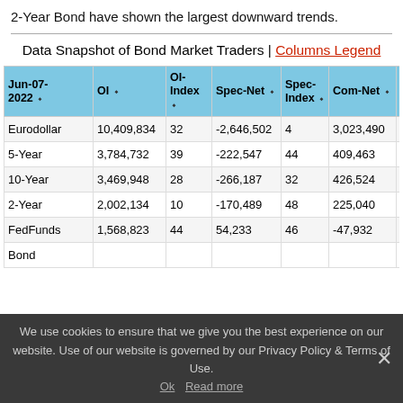2-Year Bond have shown the largest downward trends.
Data Snapshot of Bond Market Traders | Columns Legend
| Jun-07-2022 | OI | OI-Index | Spec-Net | Spec-Index | Com-Net | COM-Index |
| --- | --- | --- | --- | --- | --- | --- |
| Eurodollar | 10,409,834 | 32 | -2,646,502 | 4 | 3,023,490 | 95 |
| 5-Year | 3,784,732 | 39 | -222,547 | 44 | 409,463 | 63 |
| 10-Year | 3,469,948 | 28 | -266,187 | 32 | 426,524 | 73 |
| 2-Year | 2,002,134 | 10 | -170,489 | 48 | 225,040 | 69 |
| FedFunds | 1,568,823 | 44 | 54,233 | 46 | -47,932 | 54 |
| Bond |  |  |  |  |  |  |
We use cookies to ensure that we give you the best experience on our website. Use of our website is governed by our Privacy Policy & Terms of Use.